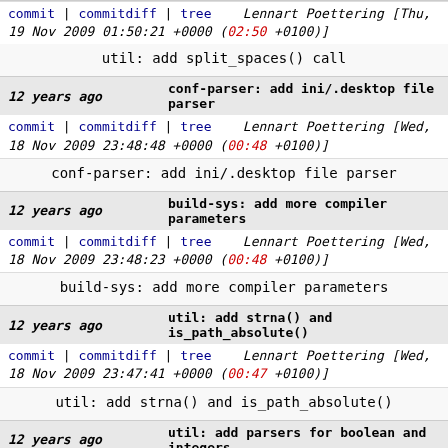commit | commitdiff | tree   Lennart Poettering [Thu, 19 Nov 2009 01:50:21 +0000 (02:50 +0100)]
util: add split_spaces() call
12 years ago   conf-parser: add ini/.desktop file parser
commit | commitdiff | tree   Lennart Poettering [Wed, 18 Nov 2009 23:48:48 +0000 (00:48 +0100)]
conf-parser: add ini/.desktop file parser
12 years ago   build-sys: add more compiler parameters
commit | commitdiff | tree   Lennart Poettering [Wed, 18 Nov 2009 23:48:23 +0000 (00:48 +0100)]
build-sys: add more compiler parameters
12 years ago   util: add strna() and is_path_absolute()
commit | commitdiff | tree   Lennart Poettering [Wed, 18 Nov 2009 23:47:41 +0000 (00:47 +0100)]
util: add strna() and is_path_absolute()
12 years ago   util: add parsers for boolean and integers